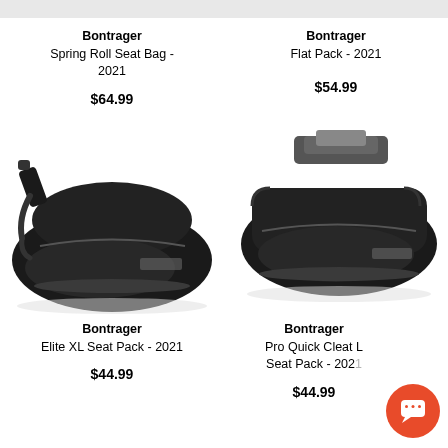Bontrager Spring Roll Seat Bag - 2021
$64.99
Bontrager Flat Pack - 2021
$54.99
[Figure (photo): Black Bontrager Elite XL Seat Pack bicycle bag, viewed from the side, with straps and zipper visible]
[Figure (photo): Black Bontrager Pro Quick Cleat L Seat Pack bicycle bag with mounting hardware on top]
Bontrager Elite XL Seat Pack - 2021
$44.99
Bontrager Pro Quick Cleat L Seat Pack - 2021
$44.99